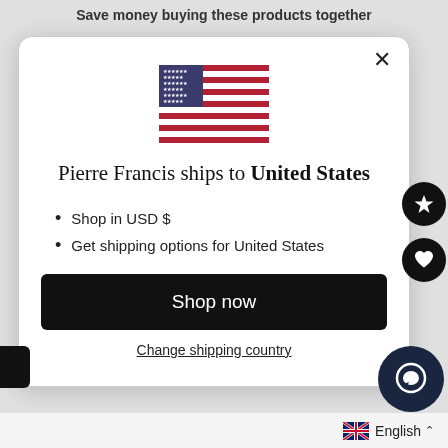Save money buying these products together
[Figure (screenshot): Modal dialog with US flag, shipping country selector for United States]
Pierre Francis ships to United States
Shop in USD $
Get shipping options for United States
Shop now
Change shipping country
English